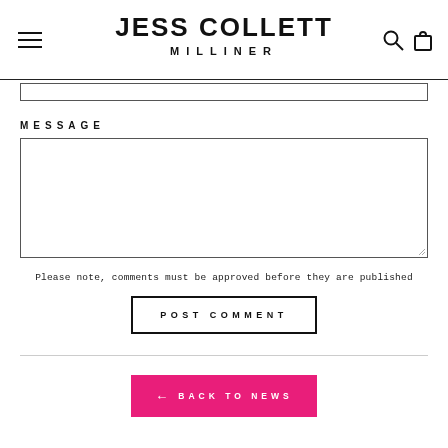JESS COLLETT MILLINER
MESSAGE
Please note, comments must be approved before they are published
POST COMMENT
← BACK TO NEWS